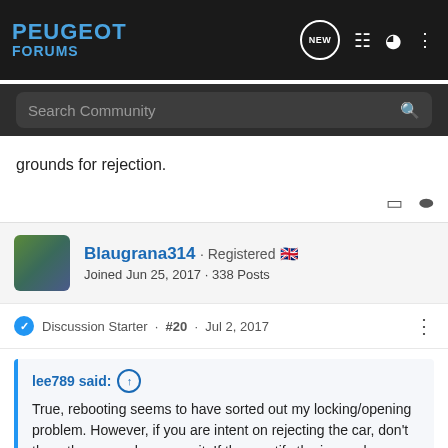[Figure (screenshot): Peugeot Forums navigation bar with logo, NEW chat bubble icon, list icon, user icon, and three-dot menu]
[Figure (screenshot): Search Community search bar on dark background with magnifying glass icon]
grounds for rejection.
[Figure (screenshot): Bookmark and share icons]
[Figure (screenshot): User avatar thumbnail]
Blaugrana314 · Registered 🇬🇧
Joined Jun 25, 2017 · 338 Posts
Discussion Starter · #20 · Jul 2, 2017
lee789 said: ↑
True, rebooting seems to have sorted out my locking/opening problem. However, if you are intent on rejecting the car, don't them them anywhere near it. If they rectify the issues by a simple reboot or software update, then you might lose your grounds for rejection.